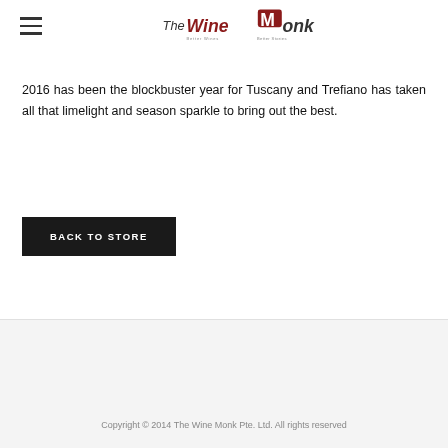The Wine Monk
2016 has been the blockbuster year for Tuscany and Trefiano has taken all that limelight and season sparkle to bring out the best.
BACK TO STORE
Copyright © 2014 The Wine Monk Pte. Ltd. All rights reserved